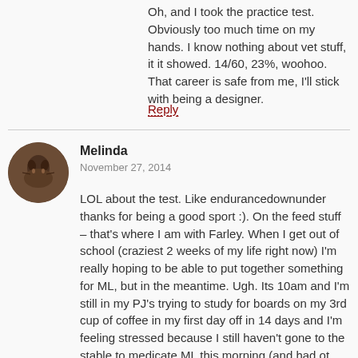Oh, and I took the practice test. Obviously too much time on my hands. I know nothing about vet stuff, it it showed. 14/60, 23%, woohoo. That career is safe from me, I'll stick with being a designer.
Reply
Melinda
November 27, 2014
LOL about the test. Like endurancedownunder thanks for being a good sport :). On the feed stuff – that's where I am with Farley. When I get out of school (craziest 2 weeks of my life right now) I'm really hoping to be able to put together something for ML, but in the meantime. Ugh. Its 10am and I'm still in my PJ's trying to study for boards on my 3rd cup of coffee in my first day off in 14 days and I'm feeling stressed because I still haven't gone to the stable to medicate ML this morning (and had ot have my husband do it last night because one of my patients popped with salmonella – a type that kills horses – so I couldn't go out last night…) so I keep telling myself that NOW is not the time to make ML's feed more complicated! LOL.